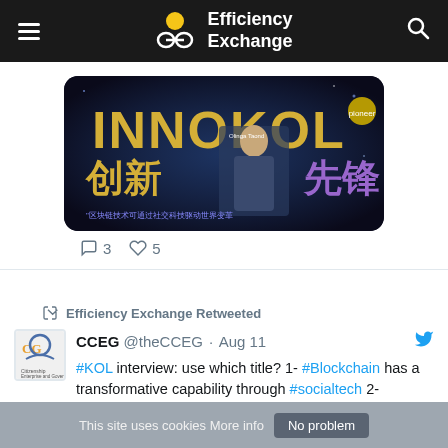Efficiency Exchange
[Figure (screenshot): INNOKOL banner image with Chinese characters 创新 (innovation) and 先锋 (pioneer), showing a person and blockchain-related text]
3  5
Efficiency Exchange Retweeted
CCEG @theCCEG · Aug 11
#KOL interview: use which title? 1- #Blockchain has a transformative capability through #socialtech 2- #Metaverse will become the place to digitally rehearse the world we want to live in 3- Balance #financial value and #nonfinancial
This site uses cookies More info  No problem